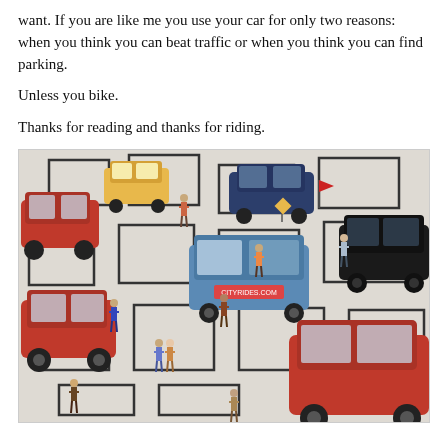want. If you are like me you use your car for only two reasons: when you think you can beat traffic or when you think you can find parking.

Unless you bike.

Thanks for reading and thanks for riding.
[Figure (photo): A miniature city scene with toy cars (red SUVs, a blue van, a black SUV, a dark blue car, a yellow car) and small figurines of people standing on a white surface printed with black street grid squares, viewed from above at an angle.]